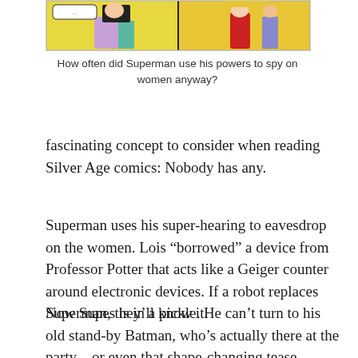[Figure (illustration): Comic book panel showing characters against a yellow background, split into two sections]
How often did Superman use his powers to spy on women anyway?
fascinating concept to consider when reading Silver Age comics: Nobody has any.
Superman uses his super-hearing to eavesdrop on the women. Lois “borrowed” a device from Professor Potter that acts like a Geiger counter around electronic devices. If a robot replaces Superman, they’ll know it.
Now Supes is in a pickle. He can’t turn to his old stand-by Batman, who’s actually there at the party – or even that shape-changing tease Chameleon Boy, who shows